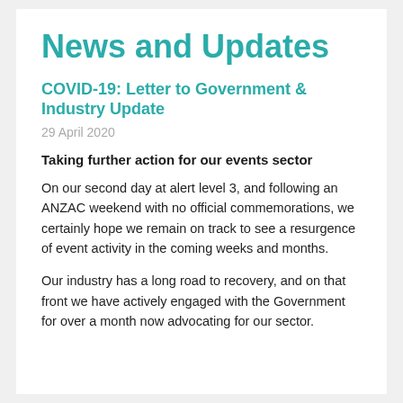News and Updates
COVID-19: Letter to Government & Industry Update
29 April 2020
Taking further action for our events sector
On our second day at alert level 3, and following an ANZAC weekend with no official commemorations, we certainly hope we remain on track to see a resurgence of event activity in the coming weeks and months.
Our industry has a long road to recovery, and on that front we have actively engaged with the Government for over a month now advocating for our sector.